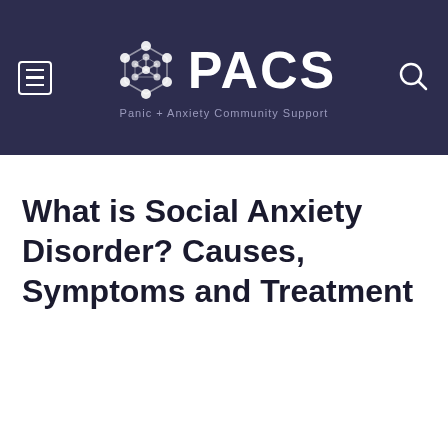PACS — Panic + Anxiety Community Support
What is Social Anxiety Disorder? Causes, Symptoms and Treatment